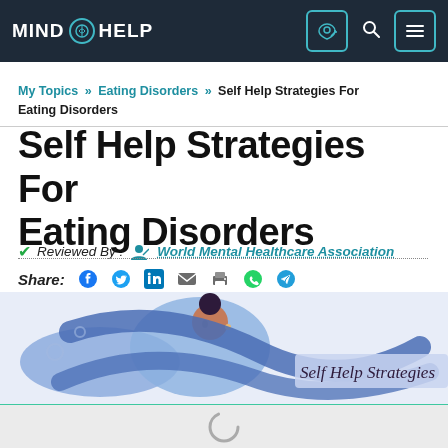MIND HELP
My Topics » Eating Disorders » Self Help Strategies For Eating Disorders
Self Help Strategies For Eating Disorders
Reviewed By : World Mental Healthcare Association
Share:
[Figure (illustration): Illustration of a woman surrounded by a large snake/ribbon shape, with text 'Self Help Strategies' in the background]
TABLE OF CONTENTS